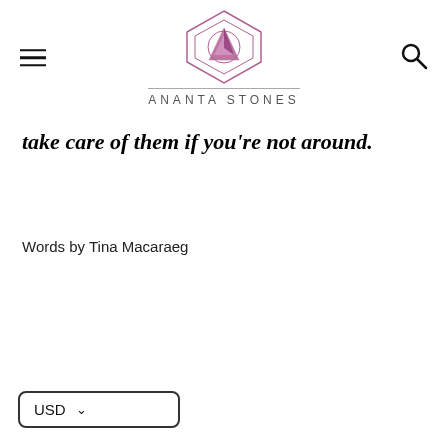[Figure (logo): Ananta Stones logo: geometric hexagon outline with inner triangle/pyramid shape in purple/pink tones, with 'ANANTA STONES' text beneath a horizontal rule]
take care of them if you're not around.
Words by Tina Macaraeg
USD